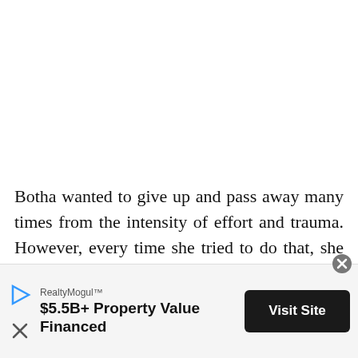Botha wanted to give up and pass away many times from the intensity of effort and trauma. However, every time she tried to do that, she got reminded of her mother. "But then the thought of my mother entered my mind, and I knew I had to go on. So I pushed myself up again and continued
[Figure (screenshot): Advertisement banner for RealtyMogul showing '$5.5B+ Property Value Financed' with a 'Visit Site' button, play icon, close X button, and RealtyMogul brand name.]